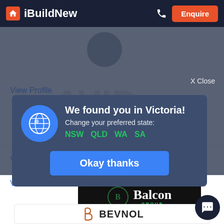iBuildNew  Enquire
View Profile
View Profile
View Profile
We found you in Victoria!
Change your preferred state:
NSW  QLD  WA  SA
X Close
Okay thanks
[Figure (logo): Balcon Group logo on dark background]
[Figure (logo): Bevnol logo with orange 'h' icon]